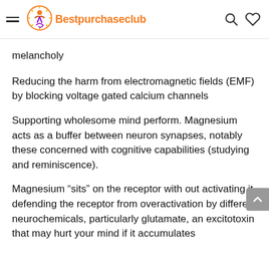Bestpurchaseclub
melancholy
Reducing the harm from electromagnetic fields (EMF) by blocking voltage gated calcium channels
Supporting wholesome mind perform. Magnesium acts as a buffer between neuron synapses, notably these concerned with cognitive capabilities (studying and reminiscence).
Magnesium “sits” on the receptor with out activating it, defending the receptor from overactivation by different neurochemicals, particularly glutamate, an excitotoxin that may hurt your mind if it accumulates